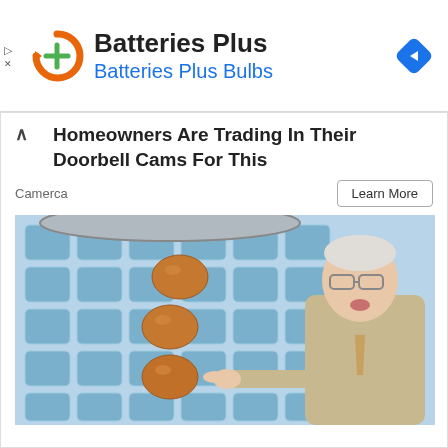[Figure (logo): Batteries Plus logo: orange circle with green plus sign and arrow symbol, followed by text 'Batteries Plus' in dark and 'Batteries Plus Bulbs' in blue, with a blue diamond navigation icon on the right]
Homeowners Are Trading In Their Doorbell Cams For This
Camerca
Learn More
[Figure (photo): An elderly man in a beige suit pointing at three brown eggs stacked vertically against a background of blue ice packs arranged in a grid pattern, with a metallic bowl visible at top]